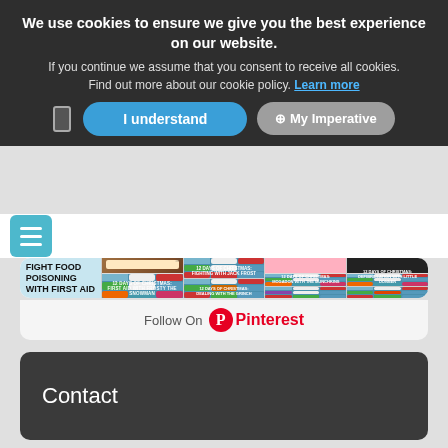We use cookies to ensure we give you the best experience on our website.
If you continue we assume that you consent to receive all cookies. Find out more about our cookie policy. Learn more
I understand
My Imperative
[Figure (screenshot): Pinterest grid of Christmas-themed infographic images including '12 Days of Christmas' advent calendar cards and a 'Fight Food Poisoning with First Aid' infographic]
Follow On Pinterest
Contact